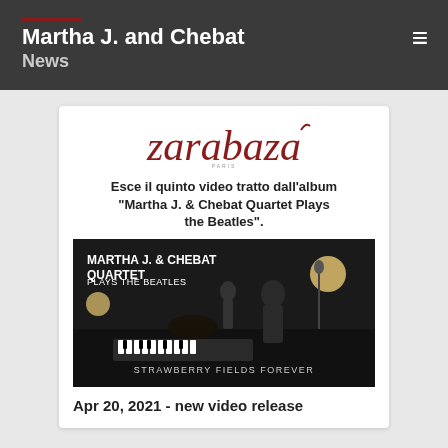Martha J. and Chebat
News
[Figure (screenshot): News article card from Zarabaza featuring: Zarabaza logo in red script, article title in Italian and English about the fifth video from album 'Martha J. & Chebat Quartet Plays the Beatles', a video thumbnail showing musicians in a dark studio with text 'MARTHA J. & CHEBAT QUARTET PLAYS THE BEATLES' and 'STRAWBERRY FIELDS FOREVER', and date caption 'Apr 20, 2021 - new video release']
Apr 20, 2021 - new video release